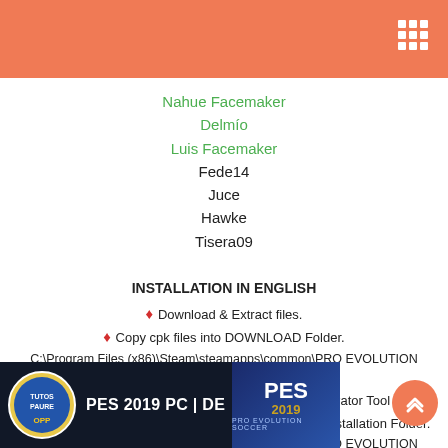Nahue Facemaker
Delmío
Luis Facemaker
Fede14
Juce
Hawke
Tisera09
INSTALLATION IN ENGLISH
♦ Download & Extract files.
♦ Copy cpk files into DOWNLOAD Folder. C:\Program Files (x86)\Steam\steamapps\common\PRO EVOLUTION SOCCER 2019 DEMO\download
♦ Generate DpFileList.Bin using DpFileListGenerator Tool
♦ Copy All files from Sider Folder in PES2019 Demo Installation Folder. C:\Program Files (x86)\Steam\steamapps\common\PRO EVOLUTION SOCCER 2019 DEMO
♦ Run Sider.exe
♦ Run PES2019 DEMO.
[Figure (screenshot): Video thumbnail showing PES 2019 PC | DEMO text with logo and PES 2019 branding]